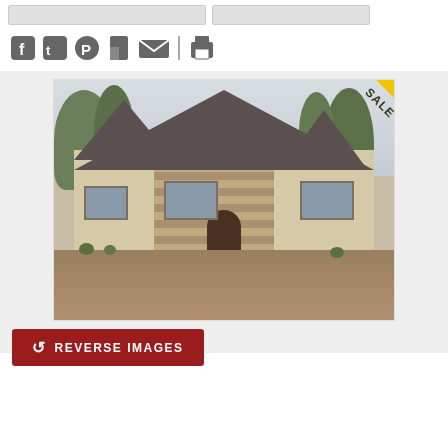[Figure (other): Two gray input/button bars at the top of the page]
[Figure (other): Social media sharing icons: Facebook, Twitter, Pinterest, Houzz, Email, divider, Print]
[Figure (photo): Exterior photograph of a large stone and stucco residential home with gabled roofline, arched entry door, multiple windows, surrounded by landscaping and trees. A yellow 'SALE' ribbon badge is shown in the top-right corner of the image frame.]
[Figure (other): Dark red button labeled 'REVERSE IMAGES' with a circular arrow icon]